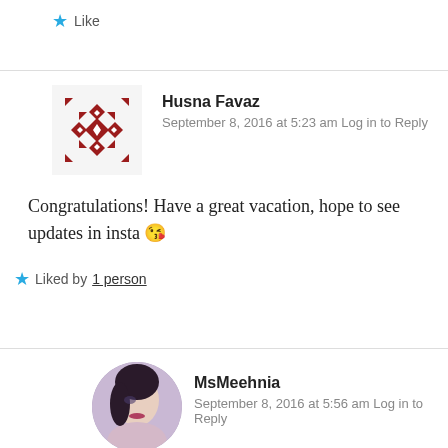★ Like
Husna Favaz
September 8, 2016 at 5:23 am Log in to Reply
Congratulations! Have a great vacation, hope to see updates in insta 😘
★ Liked by 1 person
MsMeehnia
September 8, 2016 at 5:56 am Log in to Reply